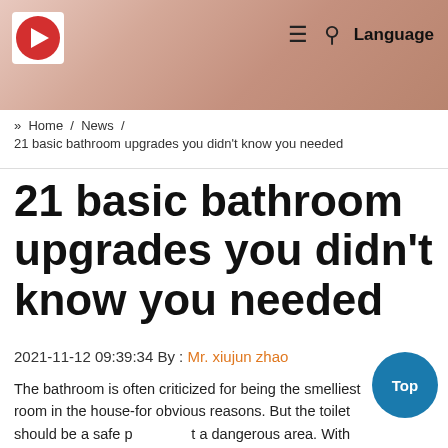[Figure (photo): Hero banner showing a close-up of toes/feet with a soft pink-beige skin tone, used as a decorative header image for a bathroom upgrades article. Overlaid with a website logo (red circle with white arrow on white background) and navigation icons (hamburger menu, search, Language).]
» Home / News /
21 basic bathroom upgrades you didn't know you needed
21 basic bathroom upgrades you didn't know you needed
2021-11-12 09:39:34 By : Mr. xiujun zhao
The bathroom is often criticized for being the smelliest room in the house-for obvious reasons. But the toilet should be a safe place, not a dangerous area. With just a little TLC, your boring one, two or three pieces can be dressed up as a hot spring-like haven with a porcelain